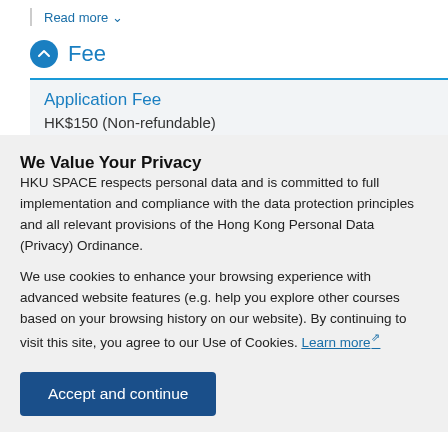Read more ∨
Fee
| Application Fee |
| --- |
| HK$150 (Non-refundable) |
We Value Your Privacy
HKU SPACE respects personal data and is committed to full implementation and compliance with the data protection principles and all relevant provisions of the Hong Kong Personal Data (Privacy) Ordinance.
We use cookies to enhance your browsing experience with advanced website features (e.g. help you explore other courses based on your browsing history on our website). By continuing to visit this site, you agree to our Use of Cookies. Learn more ↗
Accept and continue